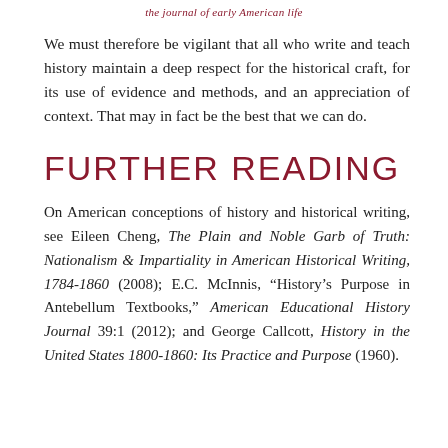the journal of early American life
We must therefore be vigilant that all who write and teach history maintain a deep respect for the historical craft, for its use of evidence and methods, and an appreciation of context. That may in fact be the best that we can do.
FURTHER READING
On American conceptions of history and historical writing, see Eileen Cheng, The Plain and Noble Garb of Truth: Nationalism & Impartiality in American Historical Writing, 1784-1860 (2008); E.C. McInnis, “History’s Purpose in Antebellum Textbooks,” American Educational History Journal 39:1 (2012); and George Callcott, History in the United States 1800-1860: Its Practice and Purpose (1960).